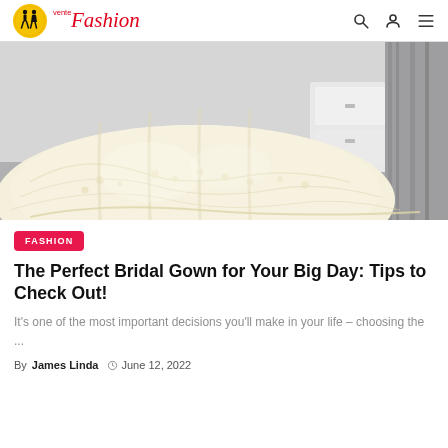Vente Fashion
[Figure (photo): Close-up photo of a white lace bridal gown with floral embroidery spread across the floor, with a dresser and grey curtain visible in the background.]
FASHION
The Perfect Bridal Gown for Your Big Day: Tips to Check Out!
It's one of the most important decisions you'll make in your life – choosing the ...
By James Linda  June 12, 2022